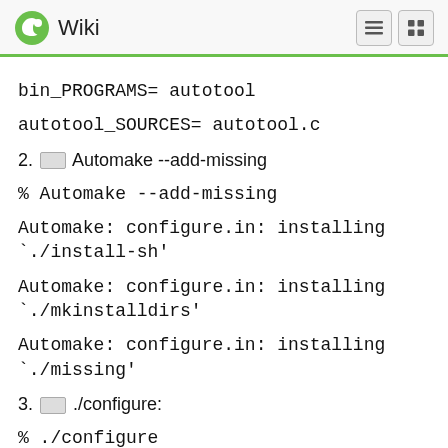Wiki
bin_PROGRAMS= autotool
autotool_SOURCES= autotool.c
2. [run] Automake --add-missing
% Automake --add-missing
Automake: configure.in: installing `./install-sh'
Automake: configure.in: installing `./mkinstalldirs'
Automake: configure.in: installing `./missing'
3. [run] ./configure:
% ./configure
checking for a BSD-compatible install... /usr/bin/install -c